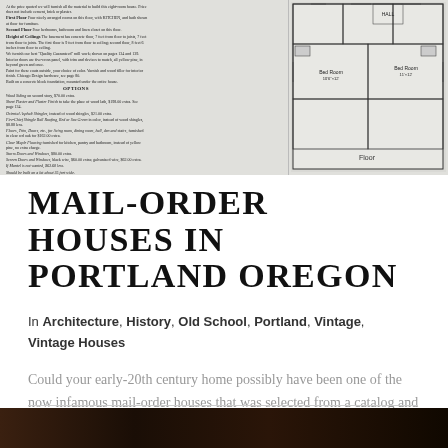[Figure (illustration): Scanned vintage catalog page showing two-column text with house specifications and options on the left, and a floor plan diagram on the right. Text includes details about price, first floor, second floor, height of ceilings, finishing, and options like wood siding, sheet plaster, asphalt shingles, fire-chief shingles, maple flooring, storm doors and windows, and screen doors.]
MAIL-ORDER HOUSES IN PORTLAND OREGON
In Architecture, History, Old School, Portland, Vintage, Vintage Houses
Could your early-20th century home possibly have been one of the now infamous mail-order houses that was selected from a catalog and purchased by mail? As unusual as it might …
[Figure (photo): Dark photograph visible at the very bottom edge of the page, showing an interior or exterior scene. Mostly dark tones of brown and black.]